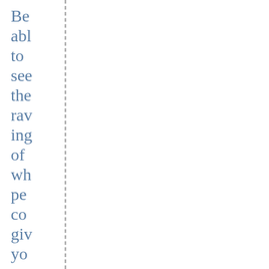Be able to see the ravings of wh peo coo giv you a wi int the cul tha